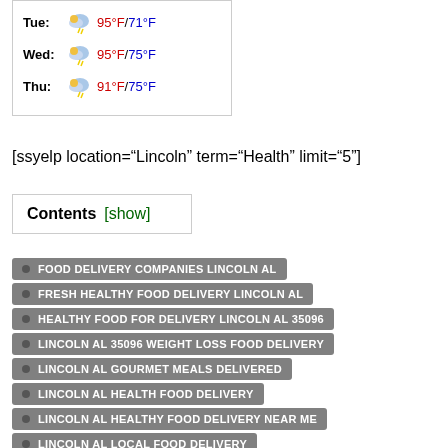[Figure (other): Weather widget showing Tue: 95°F/71°F, Wed: 95°F/75°F, Thu: 91°F/75°F with storm cloud icons]
[ssyelp location="Lincoln" term="Health" limit="5"]
Contents [show]
FOOD DELIVERY COMPANIES LINCOLN AL
FRESH HEALTHY FOOD DELIVERY LINCOLN AL
HEALTHY FOOD FOR DELIVERY LINCOLN AL 35096
LINCOLN AL 35096 WEIGHT LOSS FOOD DELIVERY
LINCOLN AL GOURMET MEALS DELIVERED
LINCOLN AL HEALTH FOOD DELIVERY
LINCOLN AL HEALTHY FOOD DELIVERY NEAR ME
LINCOLN AL LOCAL FOOD DELIVERY